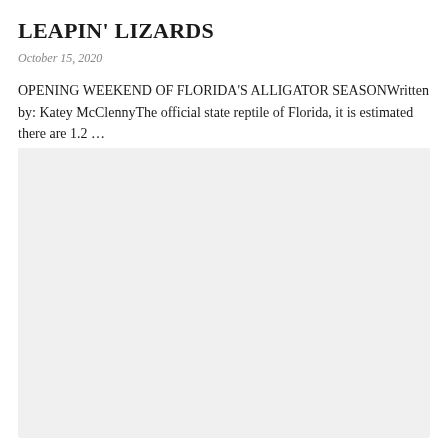LEAPIN' LIZARDS
October 15, 2020
OPENING WEEKEND OF FLORIDA'S ALLIGATOR SEASONWritten by: Katey McClennyThe official state reptile of Florida, it is estimated there are 1.2 …
[Figure (photo): A light gray placeholder image area representing a photo]